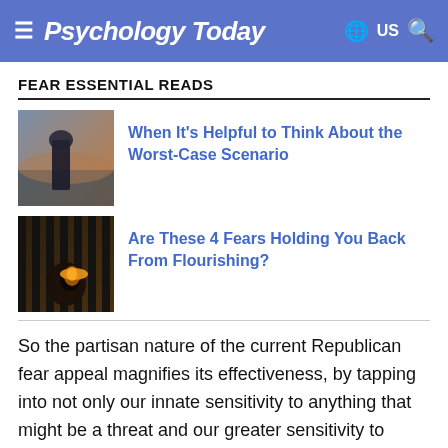Psychology Today
FEAR ESSENTIAL READS
[Figure (photo): Person in dark cloak standing near water with dramatic sky]
When It's Helpful to Think About the Worst-Case Scenario
[Figure (photo): Silhouette of person sitting behind bars or cage with bright light behind]
Are These 4 Fears Holding You Back From Flourishing?
So the partisan nature of the current Republican fear appeal magnifies its effectiveness, by tapping into not only our innate sensitivity to anything that might be a threat and our greater sensitivity to threats making news, but to our instinct to circle